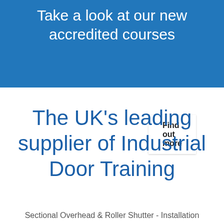Take a look at our new accredited courses
Find out more
The UK's leading supplier of Industrial Door Training
Sectional Overhead & Roller Shutter - Installation